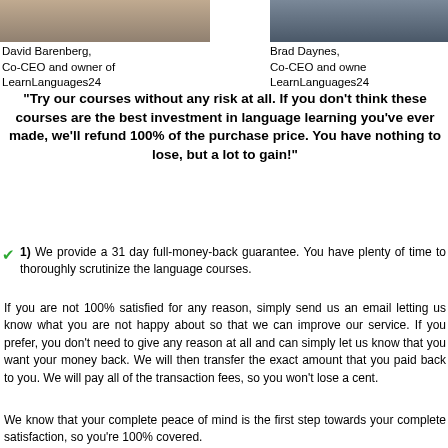[Figure (photo): Cropped photo of David Barenberg, Co-CEO and owner of LearnLanguages24, left side]
[Figure (photo): Cropped photo of Brad Daynes, Co-CEO and owner of LearnLanguages24, right side]
David Barenberg, Co-CEO and owner of LearnLanguages24
Brad Daynes, Co-CEO and owner of LearnLanguages24
"Try our courses without any risk at all. If you don't think these courses are the best investment in language learning you've ever made, we'll refund 100% of the purchase price. You have nothing to lose, but a lot to gain!"
1) We provide a 31 day full-money-back guarantee. You have plenty of time to thoroughly scrutinize the language courses.
If you are not 100% satisfied for any reason, simply send us an email letting us know what you are not happy about so that we can improve our service. If you prefer, you don't need to give any reason at all and can simply let us know that you want your money back. We will then transfer the exact amount that you paid back to you. We will pay all of the transaction fees, so you won't lose a cent.
We know that your complete peace of mind is the first step towards your complete satisfaction, so you're 100% covered.